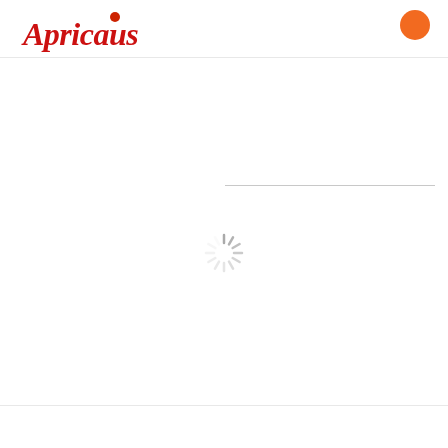[Figure (logo): Apricaus brand logo in red italic script with a small red dot above the letter i]
[Figure (other): Orange circle navigation button in top right corner]
[Figure (other): Loading spinner (circular dashed/ray pattern) centered on page]
[Figure (other): Horizontal thin gray line across upper-right area of page]
[Figure (other): Thin horizontal footer separator line near bottom of page]